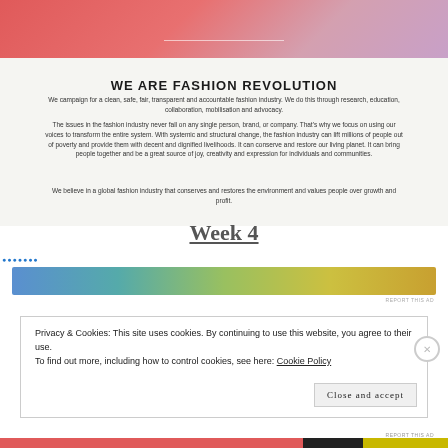[Figure (other): Red to pink gradient header banner]
WE ARE FASHION REVOLUTION
We campaign for a clean, safe, fair, transparent and accountable fashion industry. We do this through research, education, collaboration, mobilisation and advocacy.
The issues in the fashion industry never fall on any single person, brand, or company. That's why we focus on using our voices to transform the entire system. With systemic and structural change, the fashion industry can lift millions of people out of poverty and provide them with decent and dignified livelihoods. It can conserve and restore our living planet. It can bring people together and be a great source of joy, creativity and expression for individuals and communities.
We believe in a global fashion industry that conserves and restores the environment and values people over growth and profit.
Week 4
[Figure (other): Horizontal gradient advertisement banner in blue to gold tones with REPORT THIS AD text]
Privacy & Cookies: This site uses cookies. By continuing to use this website, you agree to their use.
To find out more, including how to control cookies, see here: Cookie Policy
Close and accept